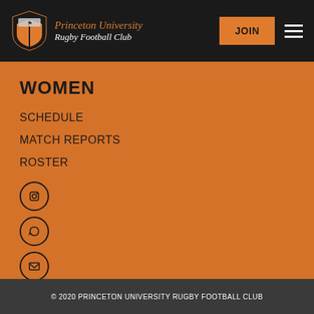[Figure (logo): Princeton University Rugby Football Club logo with shield and text]
WOMEN
SCHEDULE
MATCH REPORTS
ROSTER
[Figure (other): Three social media icon circles]
© 2020 PRINCETON UNIVERSITY RUGBY FOOTBALL CLUB